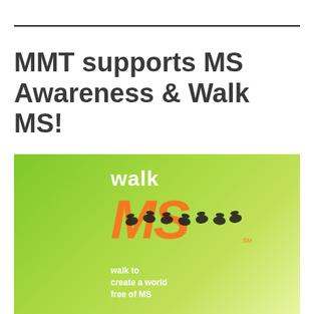MMT supports MS Awareness & Walk MS!
[Figure (logo): Walk MS logo on green gradient background with shoe prints forming the letters MS in orange, and tagline 'walk to create a world free of MS']